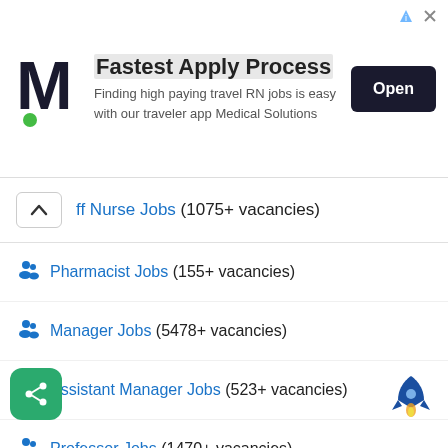[Figure (screenshot): Advertisement banner with M logo, 'Fastest Apply Process' heading, subtitle text, and Open button]
ff Nurse Jobs (1075+ vacancies)
Pharmacist Jobs (155+ vacancies)
Manager Jobs (5478+ vacancies)
Assistant Manager Jobs (523+ vacancies)
Professor Jobs (1470+ vacancies)
Assistant Professor (813+ vacancies)
Associate Professor Jobs (1064+ vacancies)
Lecturer Jobs (4869+ vacancies)
lti Tasking Staff Jobs (4570+ vacancies)
Junior Research Fellow Jobs (28+ vacancies)